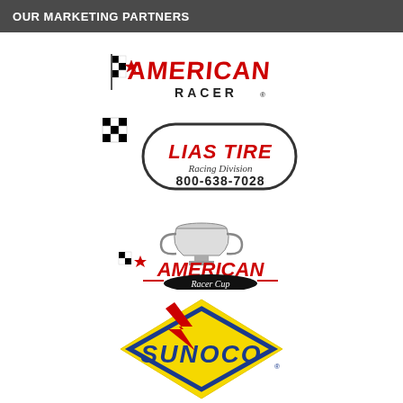OUR MARKETING PARTNERS
[Figure (logo): American Racer logo with checkered flag and red stylized text]
[Figure (logo): Lias Tire Racing Division logo with checkered flag, oval border, red text, and phone number 800-638-7028]
[Figure (logo): American Racer Cup logo with trophy and checkered flag]
[Figure (logo): Sunoco logo with yellow diamond shape, blue text, and red star/arrow]